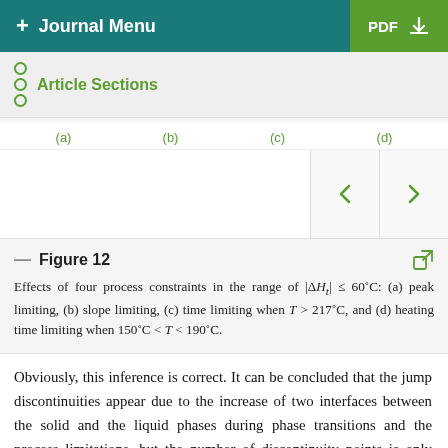+ Journal Menu | PDF
Article Sections
[Figure (other): Figure viewer showing four subpanels labeled (a), (b), (c), (d) with navigation arrows]
Figure 12
Effects of four process constraints in the range of |ΔH_t| ≤ 60°C: (a) peak limiting, (b) slope limiting, (c) time limiting when T > 217°C, and (d) heating time limiting when 150°C < T < 190°C.
Obviously, this inference is correct. It can be concluded that the jump discontinuities appear due to the increase of two interfaces between the solid and the liquid phases during phase transitions and the process limitations, but the number of discontinuity points is only related to that of interfaces between two phases.